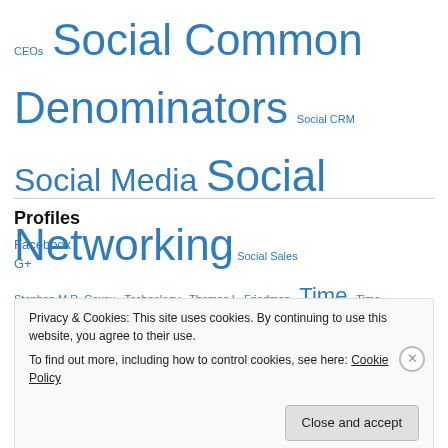[Figure (other): Tag cloud with various terms in different sizes, all in blue: CEOs (small), Social Common Denominators (large), Social CRM (small), Social Media (large), Social Networking (very large), Social Sales (small), Stephen M.R. Covey (small), Technology (small), Thomas L. Friedman (small), Time (medium-large), Time Management (small), Titanic (small), Transparency (small), Trust (medium), Twitter (large), Value (small), Web 2.0 (very large), Wikis (small), Woo (small)]
Profiles
Facebook
G+
Privacy & Cookies: This site uses cookies. By continuing to use this website, you agree to their use.
To find out more, including how to control cookies, see here: Cookie Policy
Close and accept